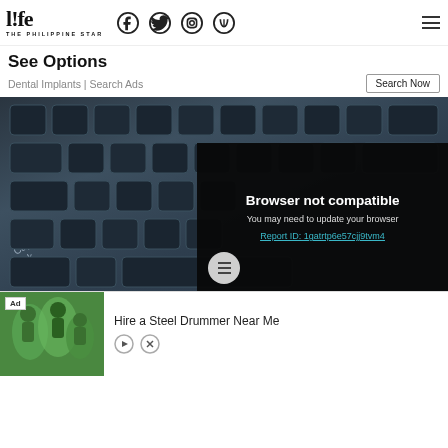life THE PHILIPPINE STAR — Navigation header with Facebook, Twitter, Instagram, TikTok icons and hamburger menu
See Options
Dental Implants | Search Ads
[Figure (screenshot): Close-up photo of a dark laptop keyboard with a black overlay panel showing 'Browser not compatible' message, 'You may need to update your browser', and a link 'Report ID: 1gatrtp6e57cjj9tvm4'. A circular menu button is visible at the bottom center of the image.]
Browser not compatible
You may need to update your browser
Report ID: 1gatrtp6e57cjj9tvm4
[Figure (infographic): Bottom advertisement banner: 'Ad' badge with image placeholder showing people dancing, text 'Hire a Steel Drummer Near Me' with play and close controls.]